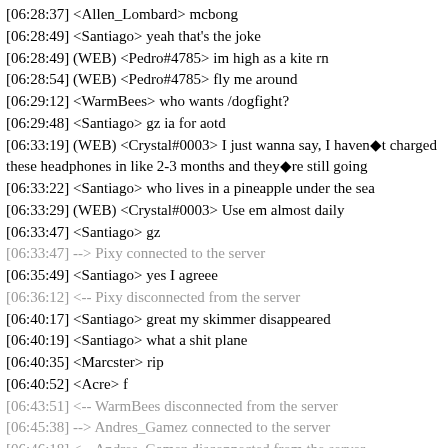[06:28:37] <Allen_Lombard> mcbong
[06:28:49] <Santiago> yeah that's the joke
[06:28:49] (WEB) <Pedro#4785> im high as a kite rn
[06:28:54] (WEB) <Pedro#4785> fly me around
[06:29:12] <WarmBees> who wants /dogfight?
[06:29:48] <Santiago> gz ia for aotd
[06:33:19] (WEB) <Crystal#0003> I just wanna say, I haven�t charged these headphones in like 2-3 months and they�re still going
[06:33:22] <Santiago> who lives in a pineapple under the sea
[06:33:29] (WEB) <Crystal#0003> Use em almost daily
[06:33:47] <Santiago> gz
[06:33:47] --> Pixy connected to the server
[06:35:49] <Santiago> yes I agreee
[06:36:12] <-- Pixy disconnected from the server
[06:40:17] <Santiago> great my skimmer disappeared
[06:40:19] <Santiago> what a shit plane
[06:40:35] <Marcster> rip
[06:40:52] <Acre> f
[06:43:51] <-- WarmBees disconnected from the server
[06:45:38] --> Andres_Gamez connected to the server
[06:46:18] <-- Andres_Gamez disconnected from the server
[06:48:15] --> Crystal connected to the server
[06:48:20] <Santiago> !cash santiago
[06:48:23] (WEB) <robin_be> santiago has $183,984,857 in hand